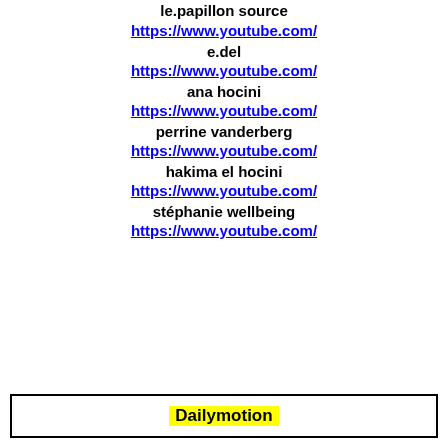le.papillon source
https://www.youtube.com/
e.del
https://www.youtube.com/
ana hocini
https://www.youtube.com/
perrine vanderberg
https://www.youtube.com/
hakima el hocini
https://www.youtube.com/
stéphanie wellbeing
https://www.youtube.com/
Dailymotion